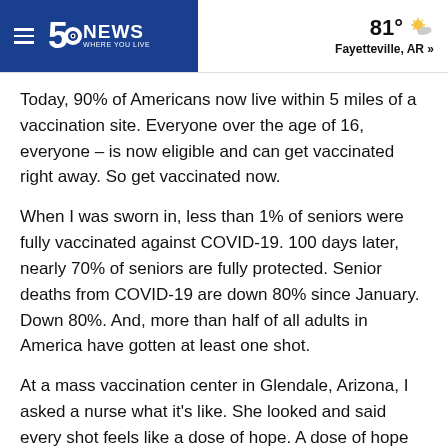5 News WHERE YOU LIVE | 81° Fayetteville, AR »
Today, 90% of Americans now live within 5 miles of a vaccination site. Everyone over the age of 16, everyone – is now eligible and can get vaccinated right away. So get vaccinated now.
When I was sworn in, less than 1% of seniors were fully vaccinated against COVID-19. 100 days later, nearly 70% of seniors are fully protected. Senior deaths from COVID-19 are down 80% since January. Down 80%. And, more than half of all adults in America have gotten at least one shot.
At a mass vaccination center in Glendale, Arizona, I asked a nurse what it's like. She looked and said every shot feels like a dose of hope. A dose of hope for the educator in Florida who has a child who suffers from an auto-immune disease. She wrote to me that she was worried about bringing the virus home. When she got vaccinated, she sat